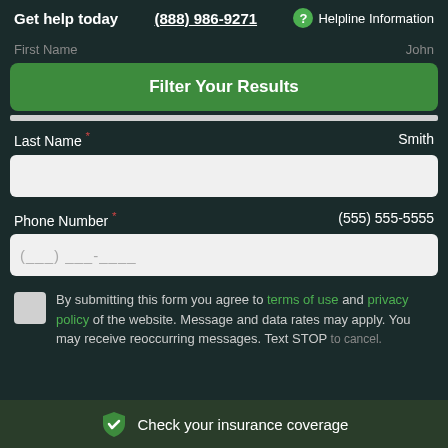Get help today  (888) 986-9271  ? Helpline Information
First Name  John
Filter Your Results
Last Name *  Smith
Phone Number *  (555) 555-5555
By submitting this form you agree to terms of use and privacy policy of the website. Message and data rates may apply. You may receive reoccurring messages. Text STOP
Check your insurance coverage